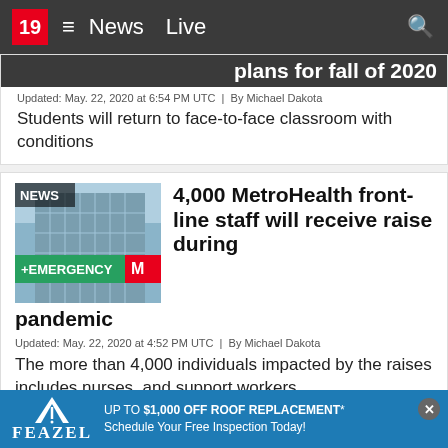19  News  Live
plans for fall of 2020
Updated: May. 22, 2020 at 6:54 PM UTC  |  By Michael Dakota
Students will return to face-to-face classroom with conditions
4,000 MetroHealth front-line staff will receive raise during pandemic
Updated: May. 22, 2020 at 4:52 PM UTC  |  By Michael Dakota
The more than 4,000 individuals impacted by the raises includes nurses, and support workers.
[Figure (photo): MetroHealth emergency entrance building exterior]
[Figure (photo): Third article partial image - NEWS label visible]
Akron di...
FEAZEL  UP TO $1,000 OFF ROOF REPLACEMENT* Schedule Your Free Inspection Today!